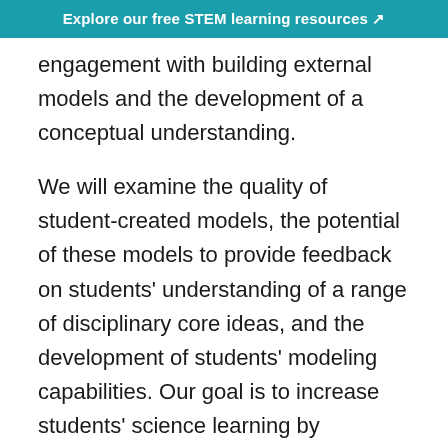Explore our free STEM learning resources ↗
engagement with building external models and the development of a conceptual understanding.
We will examine the quality of student-created models, the potential of these models to provide feedback on students' understanding of a range of disciplinary core ideas, and the development of students' modeling capabilities. Our goal is to increase students' science learning by constructing external models and to explore student engagement with